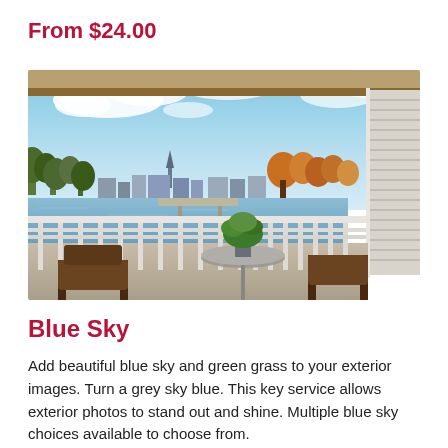From $24.00
[Figure (photo): Balcony view from an apartment overlooking a marina and town skyline with blue sky, white railing, patio table with plant, and wicker chairs. Window with blinds visible on right.]
Blue Sky
Add beautiful blue sky and green grass to your exterior images. Turn a grey sky blue. This key service allows exterior photos to stand out and shine. Multiple blue sky choices available to choose from.